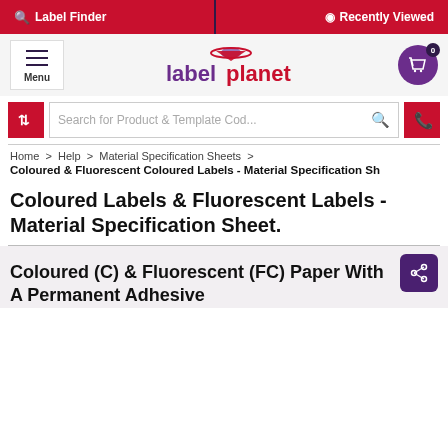Label Finder  Recently Viewed
[Figure (logo): Label Planet logo with hamburger menu and basket icon]
Search for Product & Template Cod...
Home > Help > Material Specification Sheets >
Coloured & Fluorescent Coloured Labels - Material Specification Sh
Coloured Labels & Fluorescent Labels - Material Specification Sheet.
Coloured (C) & Fluorescent (FC) Paper With A Permanent Adhesive